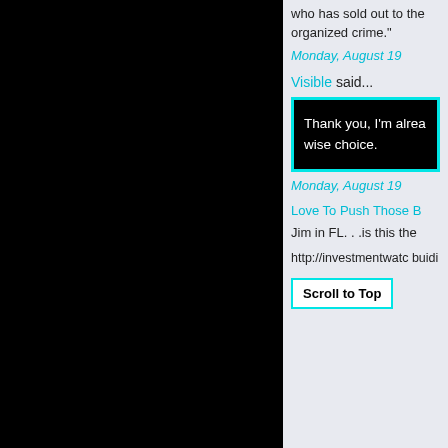who has sold out to the organized crime."
Monday, August 19
Visible said...
Thank you, I'm alrea wise choice.
Monday, August 19
Love To Push Those B
Jim in FL. . .is this the
http://investmentwatc buidi
Scroll to Top